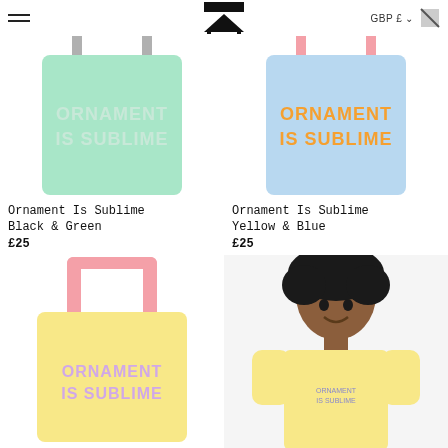[Figure (screenshot): E-commerce product listing page showing tote bags and clothing with the text 'Ornament Is Sublime'. Top navigation has hamburger menu, logo, GBP currency selector, and cart icon. Two rows of products shown: top row has a mint green tote bag (Black & Green, £25) and a light blue tote bag (Yellow & Blue, £25). Bottom row has a yellow tote bag with pink handles and a person wearing a yellow t-shirt with 'Ornament Is Sublime' text.]
GBP £
Ornament Is Sublime Black & Green
£25
Ornament Is Sublime Yellow & Blue
£25